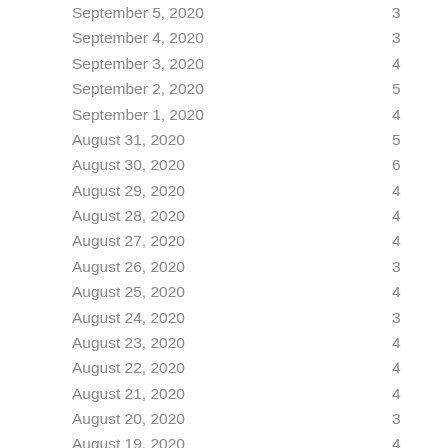| Date | Value |
| --- | --- |
| September 5, 2020 | 3 |
| September 4, 2020 | 3 |
| September 3, 2020 | 4 |
| September 2, 2020 | 5 |
| September 1, 2020 | 4 |
| August 31, 2020 | 5 |
| August 30, 2020 | 6 |
| August 29, 2020 | 4 |
| August 28, 2020 | 4 |
| August 27, 2020 | 4 |
| August 26, 2020 | 3 |
| August 25, 2020 | 4 |
| August 24, 2020 | 3 |
| August 23, 2020 | 4 |
| August 22, 2020 | 4 |
| August 21, 2020 | 4 |
| August 20, 2020 | 3 |
| August 19, 2020 | 4 |
| August 18, 2020 | 3 |
| August 17, 2020 | 3 |
| August 16, 2020 | 5 |
| August 15, 2020 | 3 |
| August 14, 2020 | 3 |
| August 13, 2020 | 4 |